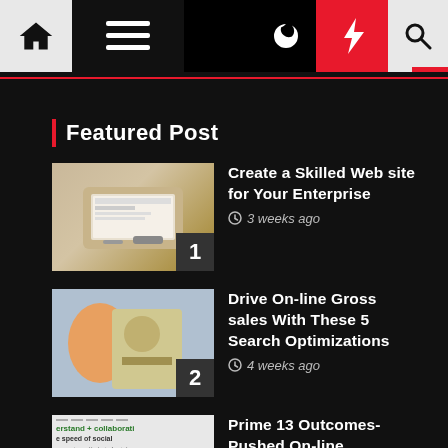Navigation bar with home, menu, moon, bolt, and search icons
Featured Post
Create a Skilled Web site for Your Enterprise — 3 weeks ago
Drive On-line Gross sales With These 5 Search Optimizations — 4 weeks ago
Prime 13 Outcomes-Pushed On-line Advertising Companies — 4 weeks ago
SaaS Homepage search engine